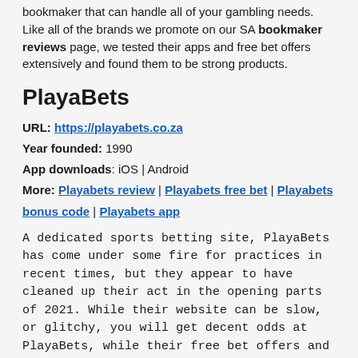bookmaker that can handle all of your gambling needs. Like all of the brands we promote on our SA bookmaker reviews page, we tested their apps and free bet offers extensively and found them to be strong products.
PlayaBets
URL: https://playabets.co.za
Year founded: 1990
App downloads: iOS | Android
More: Playabets review | Playabets free bet | Playabets bonus code | Playabets app
A dedicated sports betting site, PlayaBets has come under some fire for practices in recent times, but they appear to have cleaned up their act in the opening parts of 2021. While their website can be slow, or glitchy, you will get decent odds at PlayaBets, while their free bet offers and bonuses are also top-notch. Playabets
SunBet